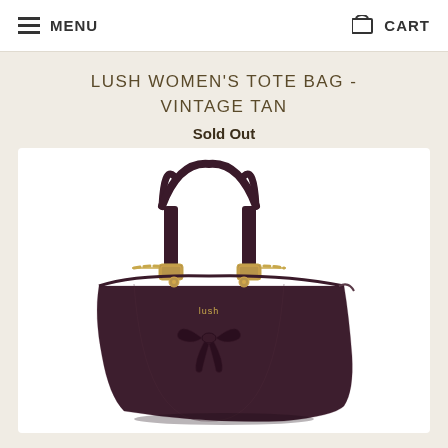MENU   CART
LUSH WOMEN'S TOTE BAG - VINTAGE TAN
Sold Out
[Figure (photo): A dark burgundy/plum women's tote bag with leather handles connected by gold chain links, a bow detail on the front, and a brand logo. The bag has a structured rectangular shape with textured leather.]